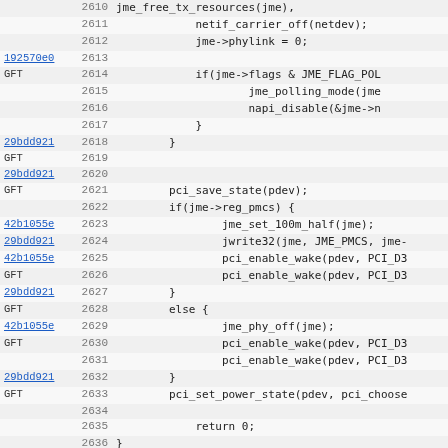[Figure (screenshot): Source code viewer showing C code lines 2610-2642, with commit hashes (192570e0, 29bdd921, 42b1055e) in the left column, line numbers in the middle column, and code content on the right. Code includes jme driver suspend/resume logic with pci_save_state, jme_set_100m_half, jwrite32, pci_enable_wake, pci_set_power_state, and jme_resume function definition.]